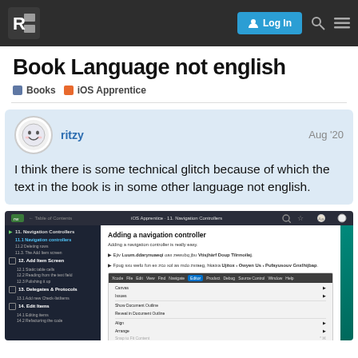raywenderlich.com — Log In
Book Language not english
Books   iOS Apprentice
ritzy   Aug '20
I think there is some technical glitch because of which the text in the book is in some other language not english.
[Figure (screenshot): Screenshot of iOS Apprentice book reader showing Navigation Controllers sidebar and 'Adding a navigation controller' content page with garbled text in a foreign language, and an Xcode Editor menu open.]